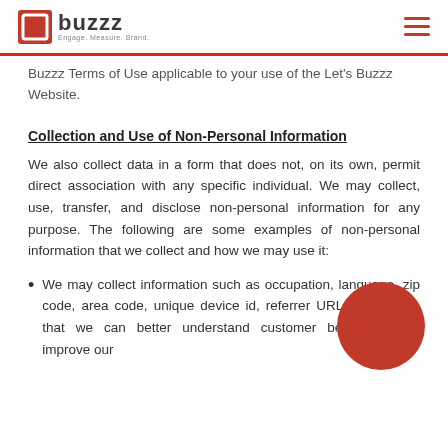buzzz — Engage. Measure. Brand.
Buzzz Terms of Use applicable to your use of the Let's Buzzz Website.
Collection and Use of Non-Personal Information
We also collect data in a form that does not, on its own, permit direct association with any specific individual. We may collect, use, transfer, and disclose non-personal information for any purpose. The following are some examples of non-personal information that we collect and how we may use it:
We may collect information such as occupation, language, zip code, area code, unique device id, referrer URL, location so that we can better understand customer behaviour and improve our